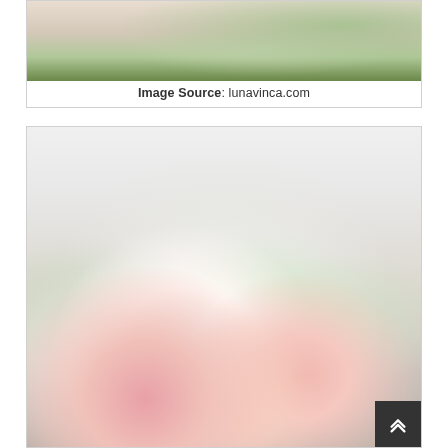[Figure (photo): Top portion of a wedding table setting photo showing glasses, greenery/eucalyptus leaves, and table decorations on a white tablecloth, partially cropped at top]
Image Source: lunavinca.com
[Figure (photo): Close-up wedding bouquet photo featuring white and blush pink roses, ranunculus, and eucalyptus greenery against a soft white/grey background]